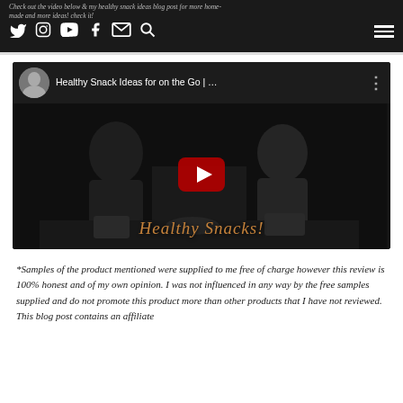Check out the video below & my healthy snack ideas blog post for more home-made and more ideas! check it!
[Figure (screenshot): YouTube video embed showing two women in a kitchen with healthy snacks. Video title: 'Healthy Snack Ideas for on the Go | ...' with a red play button in center and orange cursive 'Healthy Snacks!' text overlay at bottom.]
*Samples of the product mentioned were supplied to me free of charge however this review is 100% honest and of my own opinion. I was not influenced in any way by the free samples supplied and do not promote this product more than other products that I have not reviewed. This blog post contains an affiliate